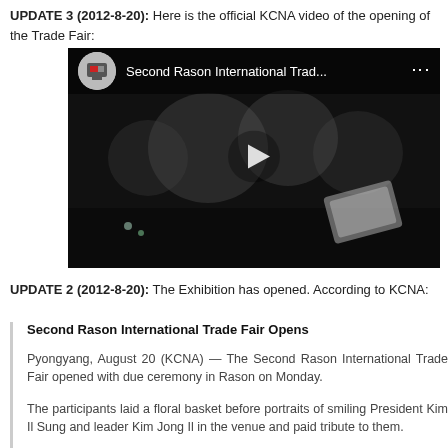UPDATE 3 (2012-8-20): Here is the official KCNA video of the opening of the Trade Fair:
[Figure (screenshot): YouTube video thumbnail showing 'Second Rason International Trad...' with a dark background showing trade fair imagery, a play button in the center, and the YouTube video interface at the top.]
UPDATE 2 (2012-8-20): The Exhibition has opened. According to KCNA:
Second Rason International Trade Fair Opens
Pyongyang, August 20 (KCNA) — The Second Rason International Trade Fair opened with due ceremony in Rason on Monday.
The participants laid a floral basket before portraits of smiling President Kim Il Sung and leader Kim Jong Il in the venue and paid tribute to them.